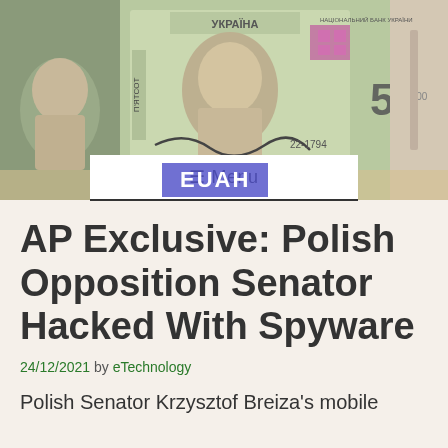[Figure (photo): Ukrainian 500 hryvnia banknotes as background image for EUAH website header]
EUAH
☰ Menu
AP Exclusive: Polish Opposition Senator Hacked With Spyware
24/12/2021 by eTechnology
Polish Senator Krzysztof Breiza's mobile